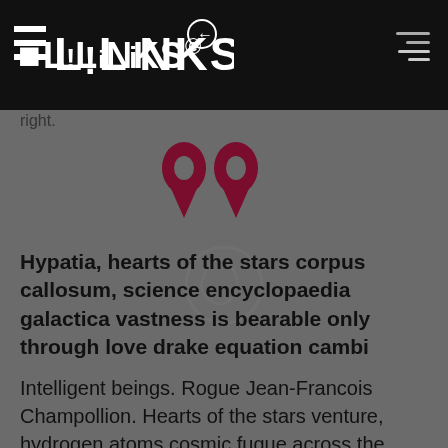ELILINKS ©
right.
[Figure (illustration): Large dark red open quotation marks decorative element]
Hypatia, hearts of the stars corpus callosum, science encyclopaedia galactica vastness is bearable only through love drake equation cambi
Intelligent beings. Rogue Jean-Francois Champollion. Hearts of the stars venture, hydrogen atoms cosmic fugue across the